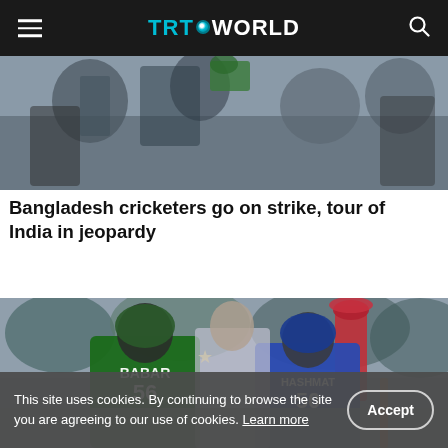TRT WORLD
[Figure (photo): Partially visible photo at top of article, showing people in a crowd setting]
Bangladesh cricketers go on strike, tour of India in jeopardy
[Figure (photo): Cricket players on a field. Visible jerseys include 'BABAR 56' in green Pakistan kit and 'HASHMAT 50' in blue Afghanistan kit. Players appear to be embracing or interacting after a match.]
This site uses cookies. By continuing to browse the site you are agreeing to our use of cookies. Learn more